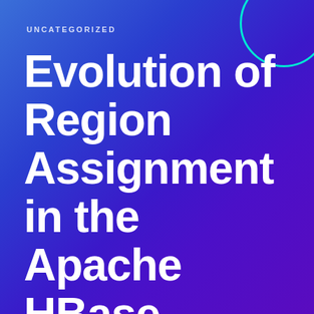UNCATEGORIZED
Evolution of Region Assignment in the Apache HBase Architecture—Part 1